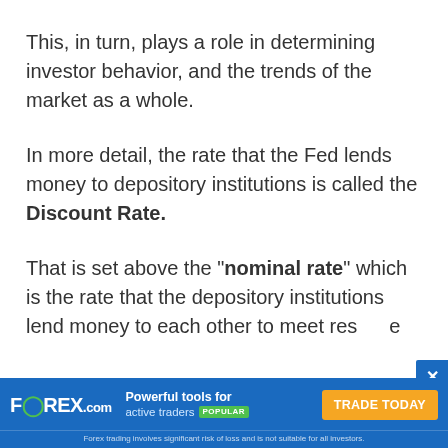This, in turn, plays a role in determining investor behavior, and the trends of the market as a whole.
In more detail, the rate that the Fed lends money to depository institutions is called the Discount Rate.
That is set above the "nominal rate" which is the rate that the depository institutions lend money to each other to meet reserve
[Figure (other): FOREX.com advertisement banner with blue background. Logo shows 'FOREX.com', tagline 'Powerful tools for active traders POPULAR', and orange CTA button 'TRADE TODAY'. Disclaimer text: 'Forex trading involves significant risk of loss and is not suitable for all investors.']